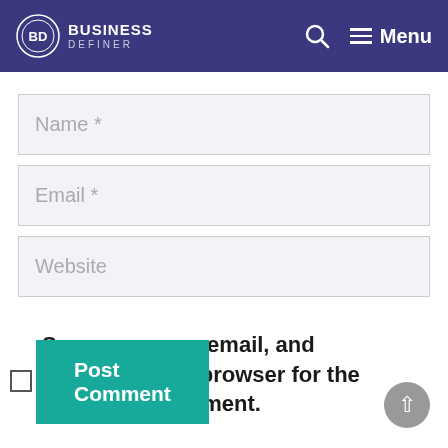[Figure (logo): Business Definer logo with circular BD emblem and text in purple header, with search icon and hamburger Menu on the right]
Name *
Email *
Website
Save my name, email, and website in this browser for the next time I comment.
Post Comment